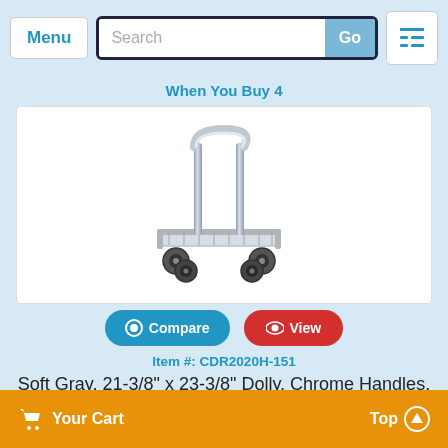Menu | Search | Go
When You Buy 4
[Figure (photo): A gray plastic dolly/cart with chrome handle bar and four black caster wheels]
Compare | View
Item #: CDR2020H-151
Soft Gray, 21-3/8" x 23-3/8" Dolly, Chrome Handles, 350 Lb Capacity
by Cambro
Your Cart  Top